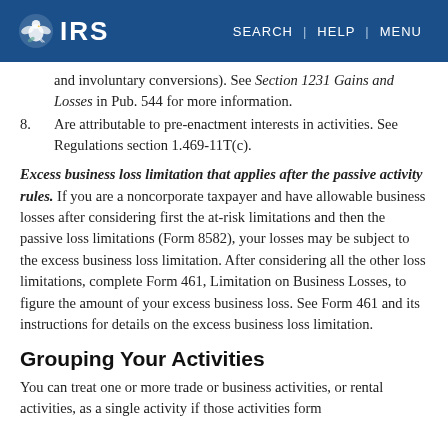IRS | SEARCH | HELP | MENU
and involuntary conversions). See Section 1231 Gains and Losses in Pub. 544 for more information.
8. Are attributable to pre-enactment interests in activities. See Regulations section 1.469-11T(c).
Excess business loss limitation that applies after the passive activity rules. If you are a noncorporate taxpayer and have allowable business losses after considering first the at-risk limitations and then the passive loss limitations (Form 8582), your losses may be subject to the excess business loss limitation. After considering all the other loss limitations, complete Form 461, Limitation on Business Losses, to figure the amount of your excess business loss. See Form 461 and its instructions for details on the excess business loss limitation.
Grouping Your Activities
You can treat one or more trade or business activities, or rental activities, as a single activity if those activities form